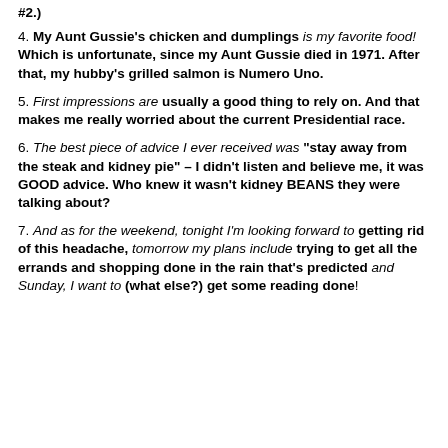#2.)
4. My Aunt Gussie's chicken and dumplings is my favorite food! Which is unfortunate, since my Aunt Gussie died in 1971. After that, my hubby's grilled salmon is Numero Uno.
5. First impressions are usually a good thing to rely on. And that makes me really worried about the current Presidential race.
6. The best piece of advice I ever received was "stay away from the steak and kidney pie" – I didn't listen and believe me, it was GOOD advice. Who knew it wasn't kidney BEANS they were talking about?
7. And as for the weekend, tonight I'm looking forward to getting rid of this headache, tomorrow my plans include trying to get all the errands and shopping done in the rain that's predicted and Sunday, I want to (what else?) get some reading done!